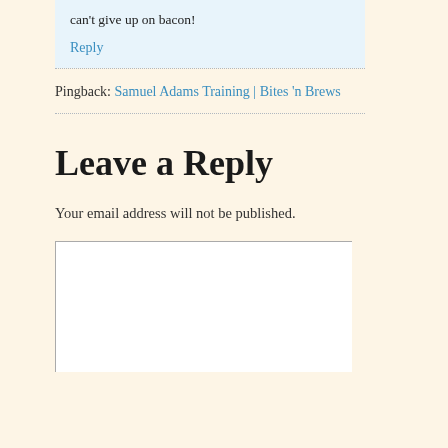can't give up on bacon!
Reply
Pingback: Samuel Adams Training | Bites 'n Brews
Leave a Reply
Your email address will not be published.